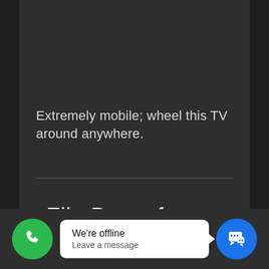Extremely mobile; wheel this TV around anywhere.
18. Flip Down from Ceiling
[Figure (screenshot): We're offline / Leave a message chat widget with green phone call button on left and blue chat button on right]